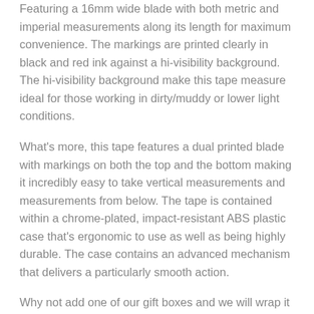Featuring a 16mm wide blade with both metric and imperial measurements along its length for maximum convenience. The markings are printed clearly in black and red ink against a hi-visibility background. The hi-visibility background make this tape measure ideal for those working in dirty/muddy or lower light conditions.
What's more, this tape features a dual printed blade with markings on both the top and the bottom making it incredibly easy to take vertical measurements and measurements from below. The tape is contained within a chrome-plated, impact-resistant ABS plastic case that's ergonomic to use as well as being highly durable. The case contains an advanced mechanism that delivers a particularly smooth action.
Why not add one of our gift boxes and we will wrap it for you
Key Features